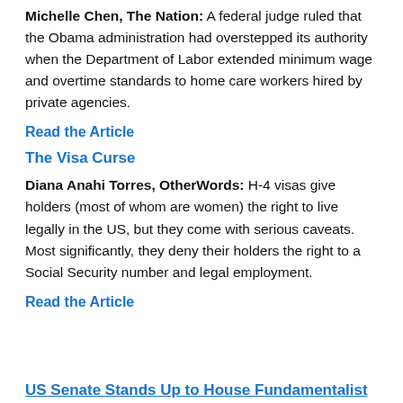Michelle Chen, The Nation: A federal judge ruled that the Obama administration had overstepped its authority when the Department of Labor extended minimum wage and overtime standards to home care workers hired by private agencies.
Read the Article
The Visa Curse
Diana Anahi Torres, OtherWords: H-4 visas give holders (most of whom are women) the right to live legally in the US, but they come with serious caveats. Most significantly, they deny their holders the right to a Social Security number and legal employment.
Read the Article
US Senate Stands Up to House Fundamentalist